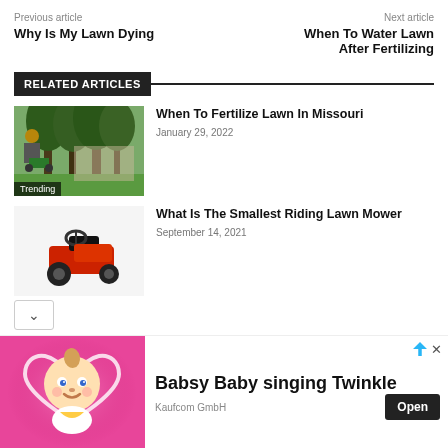Previous article
Why Is My Lawn Dying
Next article
When To Water Lawn After Fertilizing
RELATED ARTICLES
[Figure (photo): Person pushing a green fertilizer spreader on a lawn with trees in background. Trending badge shown.]
When To Fertilize Lawn In Missouri
January 29, 2022
[Figure (photo): Small red riding lawn mower on white background.]
What Is The Smallest Riding Lawn Mower
September 14, 2021
[Figure (illustration): Advertisement banner: Babsy Baby singing Twinkle — Kaufcom GmbH. Animated baby character on pink background with heart. Open button.]